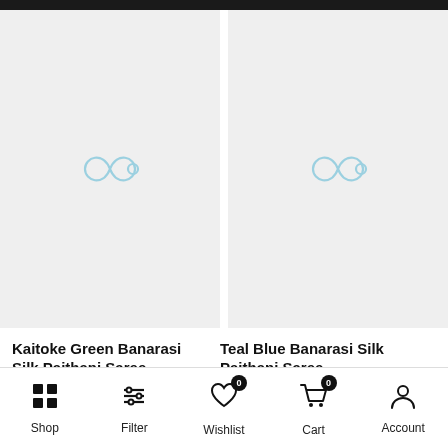[Figure (photo): Product image placeholder for Kaitoke Green Banarasi Silk Paithani Saree — light grey background with a faint light-blue stylized fish/infinity icon]
[Figure (photo): Product image placeholder for Teal Blue Banarasi Silk Paithani Saree — light grey background with a faint light-blue stylized fish/infinity icon]
Kaitoke Green Banarasi Silk Paithani Saree
Rs. 8,747.50  Rs. 3,499.00
Teal Blue Banarasi Silk Paithani Saree
Rs. 8,747.50  Rs. 3,499.00
Shop  Filter  Wishlist  Cart  Account